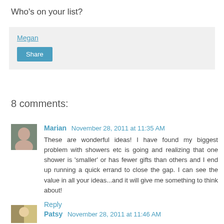Who's on your list?
Megan
Share
8 comments:
Marian  November 28, 2011 at 11:35 AM
These are wonderful ideas! I have found my biggest problem with showers etc is going and realizing that one shower is 'smaller' or has fewer gifts than others and I end up running a quick errand to close the gap. I can see the value in all your ideas...and it will give me something to think about!
Reply
Patsy  November 28, 2011 at 11:46 AM